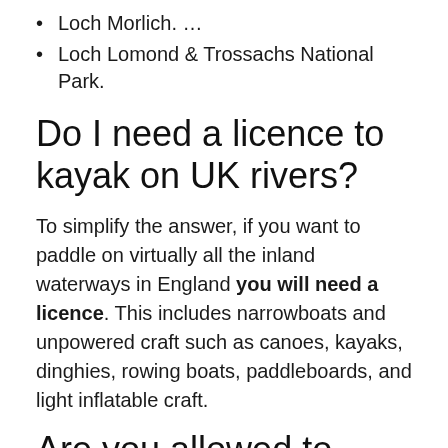Loch Morlich. …
Loch Lomond & Trossachs National Park.
Do I need a licence to kayak on UK rivers?
To simplify the answer, if you want to paddle on virtually all the inland waterways in England you will need a licence. This includes narrowboats and unpowered craft such as canoes, kayaks, dinghies, rowing boats, paddleboards, and light inflatable craft.
Are you allowed to kayak on rivers?